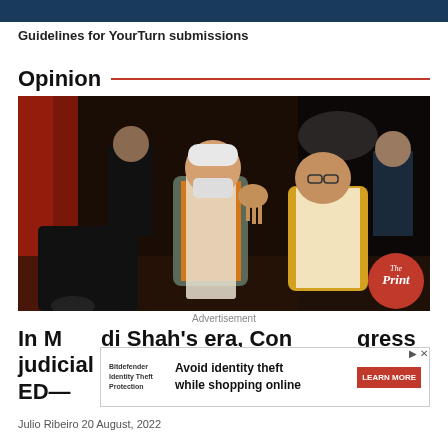Guidelines for YourTurn submissions
Opinion
[Figure (photo): Two Indian political figures, one waving (PM Narendra Modi in orange kurta with white dupatta) and another in yellow vest (Amit Shah), with security personnel in background at a night event. The Print logo badge visible in lower right.]
Advertisement
In Modi Shah's era, Congress, judicial CBI, ED—
Avoid identity theft while shopping online
Julio Ribeiro 20 August, 2022